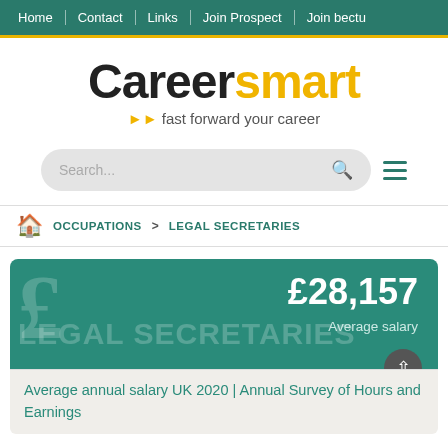Home | Contact | Links | Join Prospect | Join bectu
[Figure (logo): Careersmart logo with tagline 'fast forward your career']
Search...
OCCUPATIONS > LEGAL SECRETARIES
£28,157 LEGAL SECRETARIES Average salary
Average annual salary UK 2020 | Annual Survey of Hours and Earnings